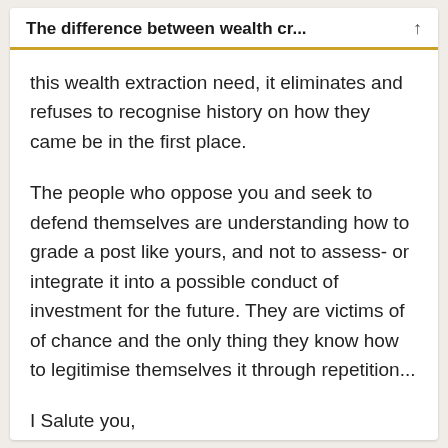The difference between wealth cr...
this wealth extraction need, it eliminates and refuses to recognise history on how they came be in the first place.
The people who oppose you and seek to defend themselves are understanding how to grade a post like yours, and not to assess- or integrate it into a possible conduct of investment for the future. They are victims of of chance and the only thing they know how to legitimise themselves it through repetition...
I Salute you,